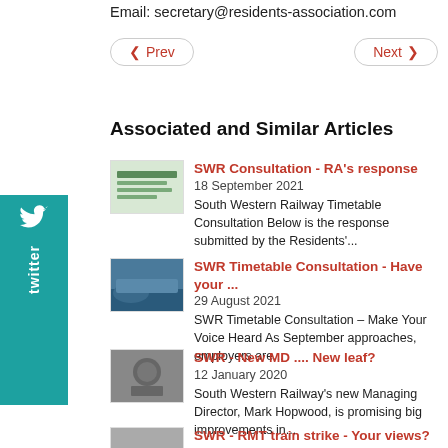Email: secretary@residents-association.com
◀ Prev    Next ▶
Associated and Similar Articles
SWR Consultation - RA's response | 18 September 2021 | South Western Railway Timetable Consultation Below is the response submitted by the Residents'...
SWR Timetable Consultation - Have your ... | 29 August 2021 | SWR Timetable Consultation – Make Your Voice Heard As September approaches, employers are...
SWR - New MD .... New leaf? | 12 January 2020 | South Western Railway's new Managing Director, Mark Hopwood, is promising big improvements in...
SWR - RMT train strike - Your views?